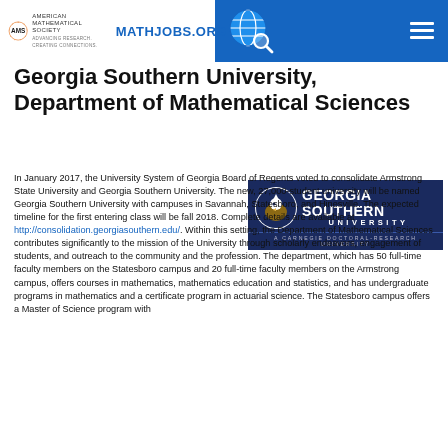AMS American Mathematical Society | MATHJOBS.ORG
Georgia Southern University, Department of Mathematical Sciences
[Figure (logo): Georgia Southern University logo — eagle emblem on dark navy background with text 'GEORGIA SOUTHERN UNIVERSITY' and subtitle 'A CARNEGIE DOCTORAL-RESEARCH UNIVERSITY']
In January 2017, the University System of Georgia Board of Regents voted to consolidate Armstrong State University and Georgia Southern University. The new, 27,000-student university will be named Georgia Southern University with campuses in Savannah, Statesboro, and Hinesville. The expected timeline for the first entering class will be fall 2018. Complete details are available at http://consolidation.georgiasouthern.edu/. Within this setting, the Department of Mathematical Sciences contributes significantly to the mission of the University through scholarly endeavors, engagement of students, and outreach to the community and the profession. The department, which has 50 full-time faculty members on the Statesboro campus and 20 full-time faculty members on the Armstrong campus, offers courses in mathematics, mathematics education and statistics, and has undergraduate programs in mathematics and a certificate program in actuarial science. The Statesboro campus offers a Master of Science program with